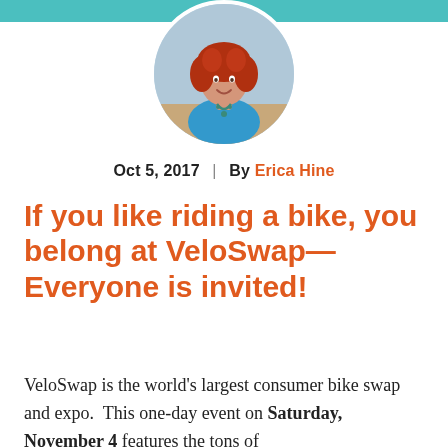[Figure (photo): Circular portrait photo of a woman with curly red hair wearing a blue top and teal necklace, set against an outdoor background. Positioned at the top center of the page overlapping a teal banner strip.]
Oct 5, 2017  |  By Erica Hine
If you like riding a bike, you belong at VeloSwap—Everyone is invited!
VeloSwap is the world's largest consumer bike swap and expo. This one-day event on Saturday, November 4 features the tons of